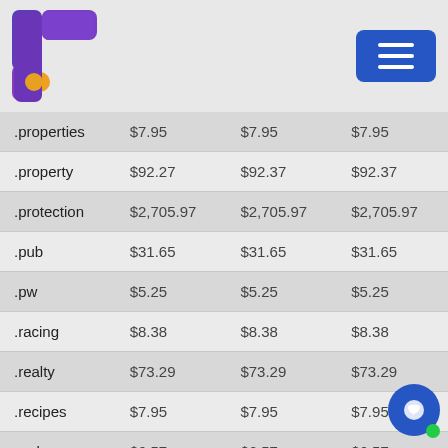[Figure (logo): Colorful F-shaped logo with purple, teal and yellow colors]
| Domain | Register | Renew | Transfer |
| --- | --- | --- | --- |
| .properties | $7.95 | $7.95 | $7.95 |
| .property | $92.27 | $92.37 | $92.37 |
| .protection | $2,705.97 | $2,705.97 | $2,705.97 |
| .pub | $31.65 | $31.65 | $31.65 |
| .pw | $5.25 | $5.25 | $5.25 |
| .racing | $8.38 | $8.38 | $8.38 |
| .realty | $73.29 | $73.29 | $73.29 |
| .recipes | $7.95 | $7.95 | $7.95 |
| .red | $6.57 | $6.57 | $6.57 |
| .rehab | $31.65 | $31.65 | $31.65 |